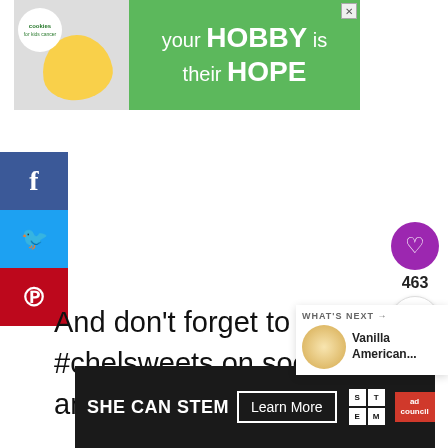[Figure (other): Advertisement banner: green background with 'your HOBBY is their HOPE' text and cookies for kids cancer logo with heart-shaped cookie image]
[Figure (other): Social media share sidebar with Facebook (blue, f icon), Twitter (light blue, bird icon), and Pinterest (red, P icon) buttons]
[Figure (other): Purple circular heart/like button showing count of 463 and a share button below it]
And don't forget to tag me @chelsweets or use #chelsweets on social media so that I can see your amazing creations!
[Figure (other): What's Next popup showing thumbnail and text 'Vanilla American...']
[Figure (other): SHE CAN STEM advertisement banner with Learn More button, STEM logo, and Ad Council logo]